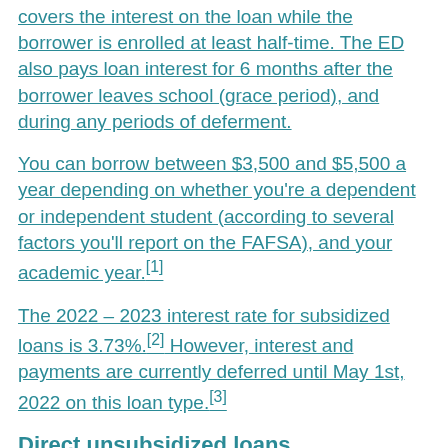covers the interest on the loan while the borrower is enrolled at least half-time. The ED also pays loan interest for 6 months after the borrower leaves school (grace period), and during any periods of deferment.
You can borrow between $3,500 and $5,500 a year depending on whether you're a dependent or independent student (according to several factors you'll report on the FAFSA), and your academic year.[1]
The 2022 – 2023 interest rate for subsidized loans is 3.73%.[2] However, interest and payments are currently deferred until May 1st, 2022 on this loan type.[3]
Direct unsubsidized loans
Unsubsidized federal direct student loans help cover the cost of college for undergraduate and graduate students.